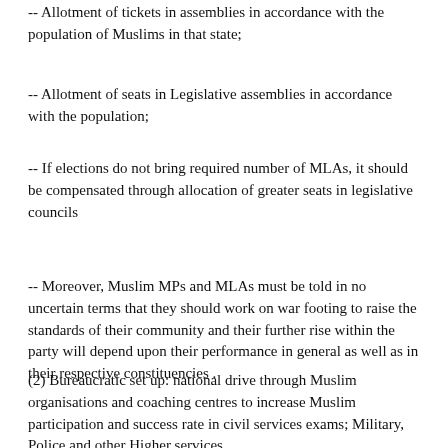-- Allotment of tickets in assemblies in accordance with the population of Muslims in that state;
-- Allotment of seats in Legislative assemblies in accordance with the population;
-- If elections do not bring required number of MLAs, it should be compensated through allocation of greater seats in legislative councils
-- Moreover, Muslim MPs and MLAs must be told in no uncertain terms that they should work on war footing to raise the standards of their community and their further rise within the party will depend upon their performance in general as well as in their respective constituencies .
(2) Bureaucratic set up: national drive through Muslim organisations and coaching centres to increase Muslim participation and success rate in civil services exams; Military, Police and other Higher services